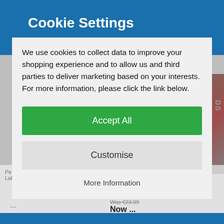Cookie Settings
Cookie Settings
We use cookies to collect data to improve your shopping experience and to allow us and third parties to deliver marketing based on your interests. For more information, please click the link below.
Accept All
Customise
More Information
Persona Q2: New Cinema Labyrinth Nintendo 3DS
LEGO Star Wars: The Force Awakens Nintendo 3DS Game (Multilingual - English, Spanish)
Was €23.99
Now ...